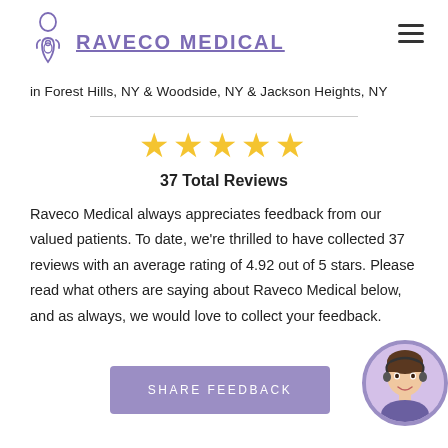[Figure (logo): Raveco Medical logo with stylized pregnant figure icon in purple and underlined text RAVECO MEDICAL]
in Forest Hills, NY & Woodside, NY & Jackson Heights, NY
[Figure (infographic): Five gold stars rating display]
37 Total Reviews
Raveco Medical always appreciates feedback from our valued patients. To date, we're thrilled to have collected 37 reviews with an average rating of 4.92 out of 5 stars. Please read what others are saying about Raveco Medical below, and as always, we would love to collect your feedback.
SHARE FEEDBACK
[Figure (photo): Customer service representative avatar photo with purple circle border]